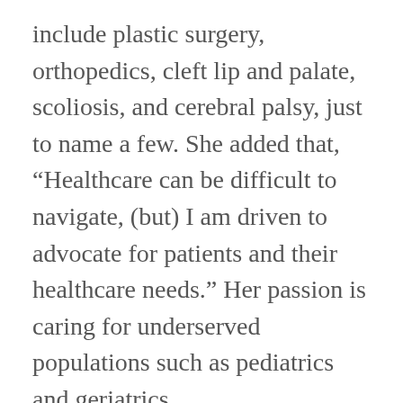include plastic surgery, orthopedics, cleft lip and palate, scoliosis, and cerebral palsy, just to name a few. She added that, “Healthcare can be difficult to navigate, (but) I am driven to advocate for patients and their healthcare needs.” Her passion is caring for underserved populations such as pediatrics and geriatrics.
During Ms. Quiroz’s free time, she loves fitness and workouts regularly, and enjoys going camping and hiking in the great outdoors with her husband and